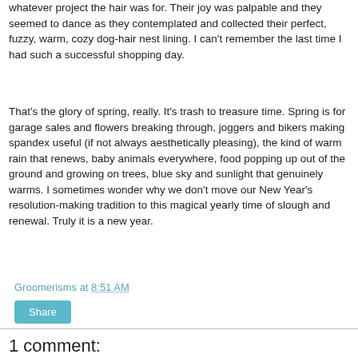whatever project the hair was for. Their joy was palpable and they seemed to dance as they contemplated and collected their perfect, fuzzy, warm, cozy dog-hair nest lining. I can't remember the last time I had such a successful shopping day.
That's the glory of spring, really. It's trash to treasure time. Spring is for garage sales and flowers breaking through, joggers and bikers making spandex useful (if not always aesthetically pleasing), the kind of warm rain that renews, baby animals everywhere, food popping up out of the ground and growing on trees, blue sky and sunlight that genuinely warms. I sometimes wonder why we don't move our New Year's resolution-making tradition to this magical yearly time of slough and renewal. Truly it is a new year.
Groomerisms at 8:51 AM
Share
1 comment: